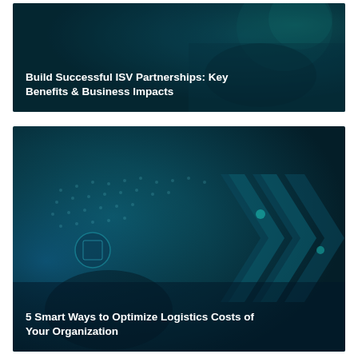[Figure (photo): Dark teal-toned banner image with hands and a globe in background, overlaid with bold white title text 'Build Successful ISV Partnerships: Key Benefits & Business Impacts']
[Figure (photo): Dark teal-toned banner image with digital world map, network icons, and geometric arrow shapes, overlaid with bold white title text '5 Smart Ways to Optimize Logistics Costs of Your Organization']